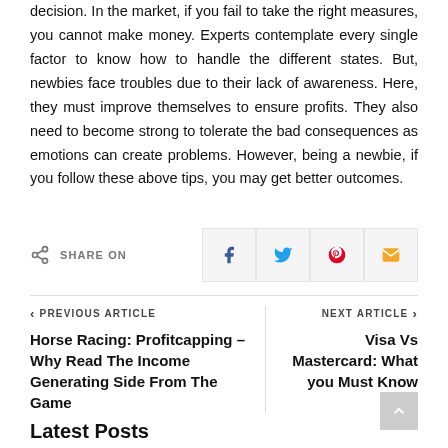decision. In the market, if you fail to take the right measures, you cannot make money. Experts contemplate every single factor to know how to handle the different states. But, newbies face troubles due to their lack of awareness. Here, they must improve themselves to ensure profits. They also need to become strong to tolerate the bad consequences as emotions can create problems. However, being a newbie, if you follow these above tips, you may get better outcomes.
SHARE ON
< PREVIOUS ARTICLE
Horse Racing: Profitcapping – Why Read The Income Generating Side From The Game
NEXT ARTICLE >
Visa Vs Mastercard: What you Must Know
Latest Posts